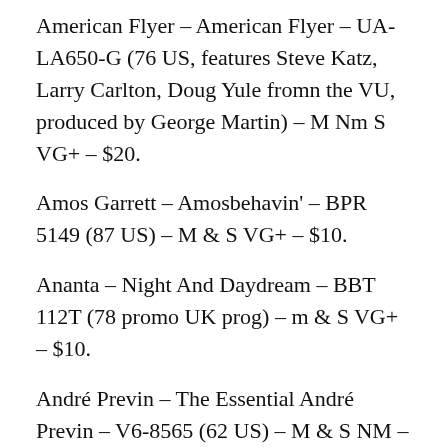American Flyer – American Flyer – UA-LA650-G (76 US, features Steve Katz, Larry Carlton, Doug Yule fromn the VU, produced by George Martin) – M Nm S VG+ – $20.
Amos Garrett – Amosbehavin' – BPR 5149 (87 US) – M & S VG+ – $10.
Ananta – Night And Daydream – BBT 112T (78 promo UK prog) – m & S VG+ – $10.
André Previn – The Essential André Previn – V6-8565 (62 US) – M & S NM – $10.
Andreas Vollenweider – Caverna Magica – (…Under The Tree – In The Cave…) – SBP 237932 (83 Aus) – M & S VG+ – $15.